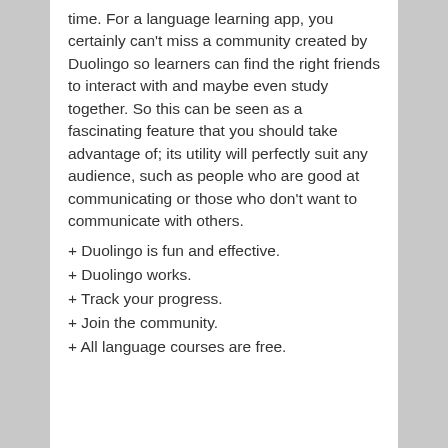time. For a language learning app, you certainly can't miss a community created by Duolingo so learners can find the right friends to interact with and maybe even study together. So this can be seen as a fascinating feature that you should take advantage of; its utility will perfectly suit any audience, such as people who are good at communicating or those who don't want to communicate with others.
+ Duolingo is fun and effective.
+ Duolingo works.
+ Track your progress.
+ Join the community.
+ All language courses are free.